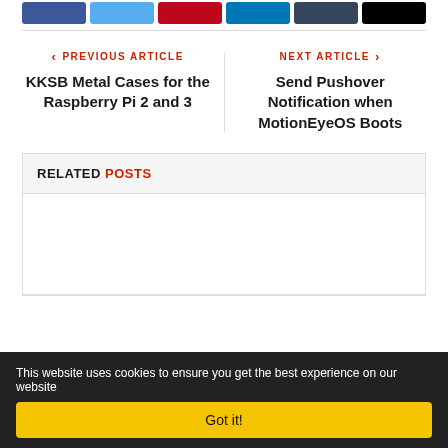[Figure (other): Social share buttons row: Facebook (blue), Twitter (light blue), Pinterest (red), LinkedIn (dark blue), Tumblr (dark gray), More (black)]
< PREVIOUS ARTICLE
KKSB Metal Cases for the Raspberry Pi 2 and 3
NEXT ARTICLE >
Send Pushover Notification when MotionEyeOS Boots
RELATED POSTS
This website uses cookies to ensure you get the best experience on our website
Got it!